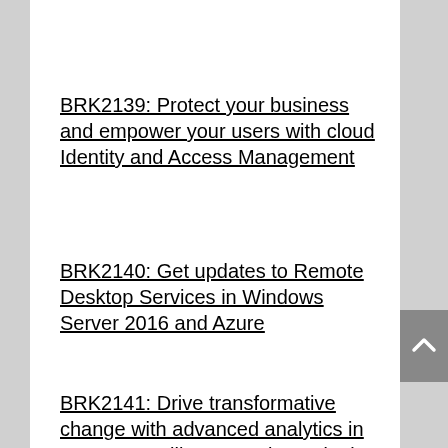BRK2139: Protect your business and empower your users with cloud Identity and Access Management
BRK2140: Get updates to Remote Desktop Services in Windows Server 2016 and Azure
BRK2141: Drive transformative change with advanced analytics in Cortana Intelligence Suite and Mi…